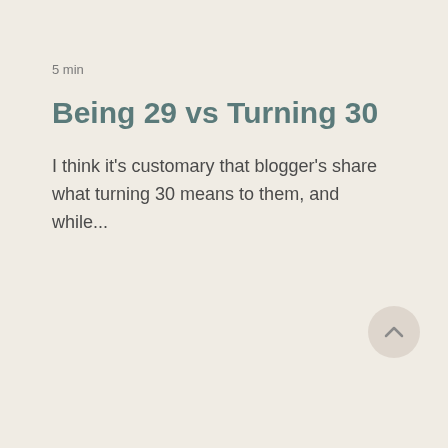5 min
Being 29 vs Turning 30
I think it's customary that blogger's share what turning 30 means to them, and while...
[Figure (illustration): A circular back-to-top button with an upward chevron arrow icon, positioned in the lower right area of the page.]